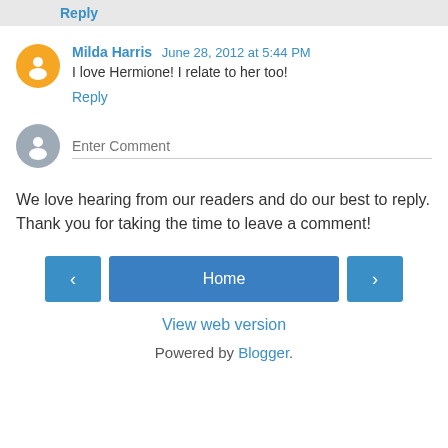Reply
Milda Harris  June 28, 2012 at 5:44 PM
I love Hermione! I relate to her too!
Reply
Enter Comment
We love hearing from our readers and do our best to reply. Thank you for taking the time to leave a comment!
< Home >
View web version
Powered by Blogger.